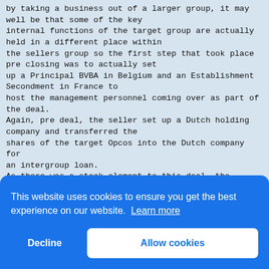by taking a business out of a larger group, it may well be that some of the key internal functions of the target group are actually held in a different place within the sellers group so the first step that took place pre closing was to actually set up a Principal BVBA in Belgium and an Establishment Secondment in France to host the management personnel coming over as part of the deal.
Again, pre deal, the seller set up a Dutch holding company and transferred the shares of the target Opcos into the Dutch company for an intergroup loan.
As there was a stock element to this deal, the purchaser issued some of its shares to its own Dutch holding company in exchange for shares ie did a share for share exchange and to meet the rest of the consideration the new Dutch holding company of the purchaser also entered into a non reco a ba shar a fa This comp tran Dutc 59
purc particular case there was an assumption of certain liabilities and the Purchaser
[Figure (screenshot): Cookie consent banner overlay with blue background. Message: 'This website uses cookies to ensure you get the best experience on our website. Learn more'. Two buttons: 'Decline' and 'Allow cookies'.]